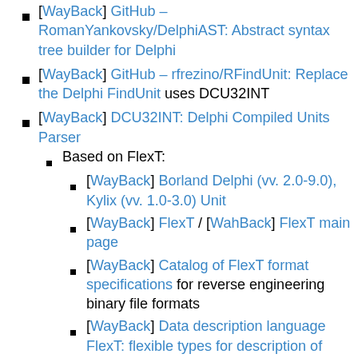[WayBack] GitHub – RomanYankovsky/DelphiAST: Abstract syntax tree builder for Delphi
[WayBack] GitHub – rfrezino/RFindUnit: Replace the Delphi FindUnit uses DCU32INT
[WayBack] DCU32INT: Delphi Compiled Units Parser
Based on FlexT:
[WayBack] Borland Delphi (vv. 2.0-9.0), Kylix (vv. 1.0-3.0) Unit
[WayBack] FlexT / [WahBack] FlexT main page
[WayBack] Catalog of FlexT format specifications for reverse engineering binary file formats
[WayBack] Data description language FlexT: flexible types for description of static data.
[WayBack] DCU32INT FAQ.
[WayBack] Linux executable in TGZ